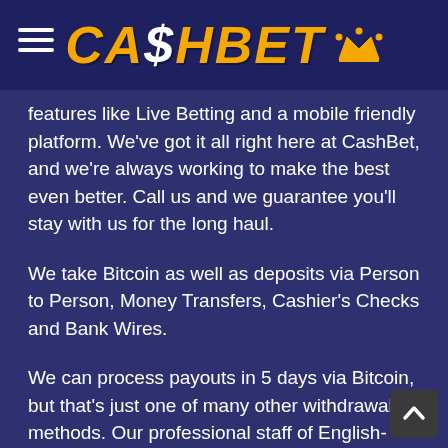CASHBET
features like Live Betting and a mobile friendly platform. We've got it all right here at CashBet, and we're always working to make the best even better. Call us and we guarantee you'll stay with us for the long haul.
We take Bitcoin as well as deposits via Person to Person, Money Transfers, Cashier's Checks and Bank Wires.
We can process payouts in 5 days via Bitcoin, but that's just one of many other withdrawal methods. Our professional staff of English-speaking customer service representatives are standing by to help you.
If all of this sounds too good to be true, then feel free try our five-star customer service and be one more happy CashBet user, come and check us out for yourself. There isn't any other casino anywhere that features the know-how and how-to, or the work ethic and just